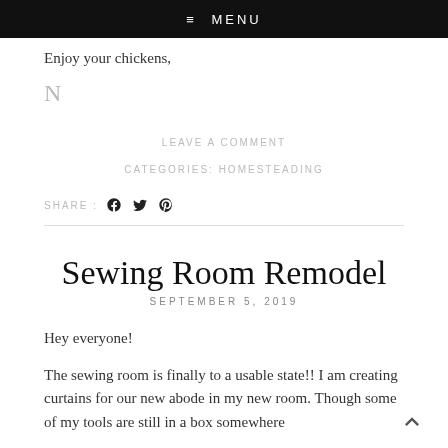≡ MENU
Enjoy your chickens,
N
LEAVE A COMMENT
CATEGORIES: HOMESTEADING
SHARE :
Sewing Room Remodel
SEPTEMBER 5, 2019
Hey everyone!
The sewing room is finally to a usable state!! I am creating curtains for our new abode in my new room. Though some of my tools are still in a box somewhere